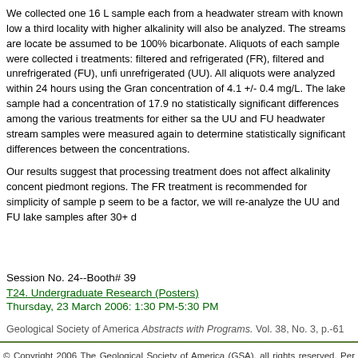We collected one 16 L sample each from a headwater stream with known low a third locality with higher alkalinity will also be analyzed. The streams are locate be assumed to be 100% bicarbonate. Aliquots of each sample were collected i treatments: filtered and refrigerated (FR), filtered and unrefrigerated (FU), unfi unrefrigerated (UU). All aliquots were analyzed within 24 hours using the Gran concentration of 4.1 +/- 0.4 mg/L. The lake sample had a concentration of 17.9 no statistically significant differences among the various treatments for either sa the UU and FU headwater stream samples were measured again to determine statistically significant differences between the concentrations.
Our results suggest that processing treatment does not affect alkalinity concent piedmont regions. The FR treatment is recommended for simplicity of sample p seem to be a factor, we will re-analyze the UU and FU lake samples after 30+ d
Session No. 24--Booth# 39
T24. Undergraduate Research (Posters)
Thursday, 23 March 2006: 1:30 PM-5:30 PM
Geological Society of America Abstracts with Programs. Vol. 38, No. 3, p.-61
© Copyright 2006 The Geological Society of America (GSA), all rights reserved. Per reproduce and distribute it freely, for noncommercial purposes. Permission is hereby g this electronic file and reproduce up to 20 paper copies for noncommercial purposes providing all reproductions include the complete content shown here, including the transmittal are prohibited without written permission from GSA Copyright Permissions.
Back to: T24. Undergraduate Resea
<< Previous Abstract | Next Abs